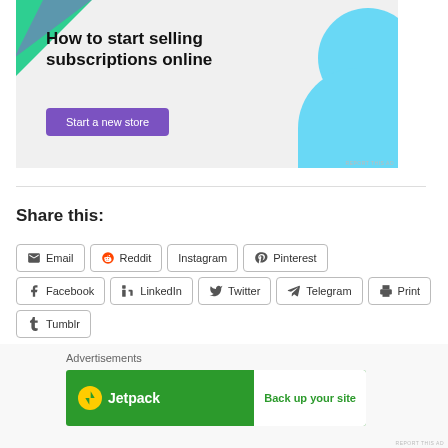[Figure (illustration): Advertisement banner: 'How to start selling subscriptions online' with a purple 'Start a new store' button, green triangle top-left and blue circle/wave top-right decorations on light grey background]
Share this:
Email
Reddit
Instagram
Pinterest
Facebook
LinkedIn
Twitter
Telegram
Print
Tumblr
[Figure (illustration): Jetpack advertisement banner with green background, Jetpack logo on left and 'Back up your site' button on right]